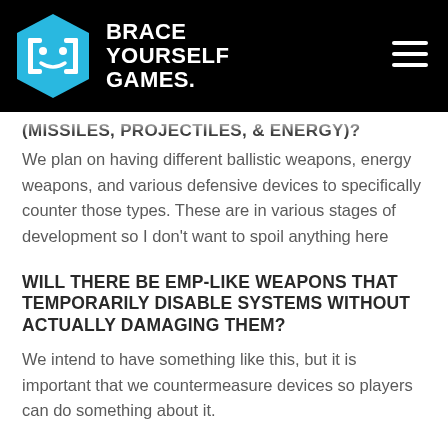[Figure (logo): Brace Yourself Games logo: blue hexagon with white bracket-face icon, white bold text 'BRACE YOURSELF GAMES.' on black header background with hamburger menu icon]
(MISSILES, PROJECTILES, & ENERGY)?
We plan on having different ballistic weapons, energy weapons, and various defensive devices to specifically counter those types. These are in various stages of development so I don't want to spoil anything here
WILL THERE BE EMP-LIKE WEAPONS THAT TEMPORARILY DISABLE SYSTEMS WITHOUT ACTUALLY DAMAGING THEM?
We intend to have something like this, but it is important that we countermeasure devices so players can do something about it.
WILL THERE BE SOME SORT OF DRONE CONTROL